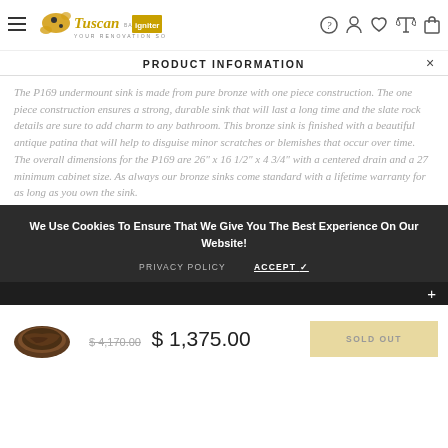Tuscan Basins — igniter | navigation icons
PRODUCT INFORMATION
The P169 undermount sink is made from pure bronze with one piece construction. The one piece construction ensures a strong, durable sink that will last a long time and the slate rock details are sure to add charm to any bathroom. This bronze sink is finished with a beautiful antique patina that will help to disguise minor scratches or blemishes that occur over time. The overall dimensions for the P169 are 26" x 16 1/2" x 4 3/4" with a centered drain and a 27 minimum cabinet size. As always our bronze sinks come standard with a lifetime warranty for as long as you own the sink.
We Use Cookies To Ensure That We Give You The Best Experience On Our Website!
PRIVACY POLICY    ACCEPT ✓
[Figure (photo): Small thumbnail photo of a bronze undermount sink (P169) with dark patina finish]
$ 4,170.00  $ 1,375.00   SOLD OUT